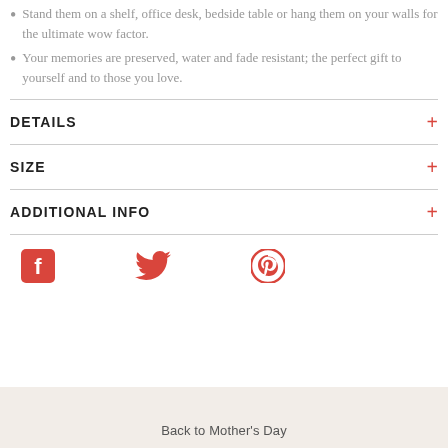Stand them on a shelf, office desk, bedside table or hang them on your walls for the ultimate wow factor.
Your memories are preserved, water and fade resistant; the perfect gift to yourself and to those you love.
DETAILS
SIZE
ADDITIONAL INFO
[Figure (other): Social media icons: Facebook, Twitter, Pinterest in coral/red color]
Back to Mother's Day